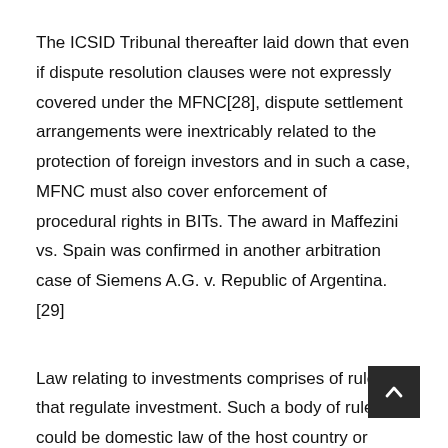The ICSID Tribunal thereafter laid down that even if dispute resolution clauses were not expressly covered under the MFNC[28], dispute settlement arrangements were inextricably related to the protection of foreign investors and in such a case, MFNC must also cover enforcement of procedural rights in BITs. The award in Maffezini vs. Spain was confirmed in another arbitration case of Siemens A.G. v. Republic of Argentina.[29]
Law relating to investments comprises of rules that regulate investment. Such a body of rules could be domestic law of the host country or could be international law. Since bilateral investment treaties cannot only be interpreted through the domestic laws of the host countries, general principles of international law and its sources may be referred to, for
[Figure (other): A dark square back-to-top button with an upward-pointing chevron arrow]